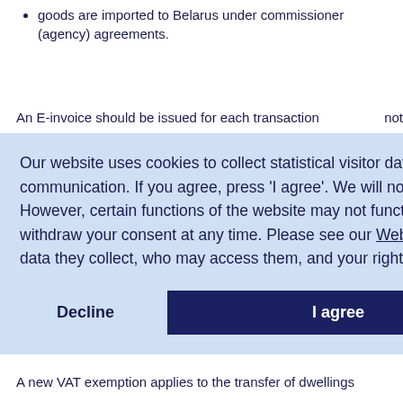goods are imported to Belarus under commissioner (agency) agreements.
An E-invoice should be issued for each transaction not ...
Our website uses cookies to collect statistical visitor data and track interaction with direct marketing communication. If you agree, press 'I agree'. We will not place cookies on your device if you do not agree. However, certain functions of the website may not function properly or may not function at all. You may withdraw your consent at any time. Please see our Website privacy policy for more information about cookies, data they collect, who may access them, and your rights.
Decline | I agree
...ed for:
...ctricity
A new VAT exemption applies to the transfer of dwellings